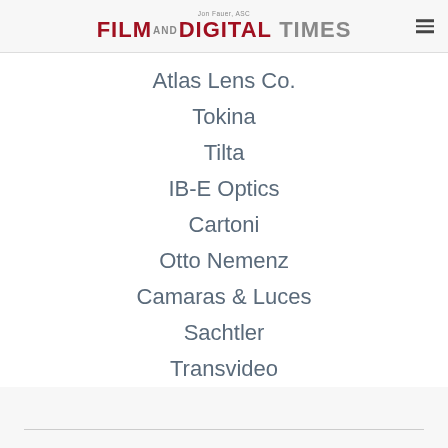Jon Fauer, ASC — Film and Digital Times
Atlas Lens Co.
Tokina
Tilta
IB-E Optics
Cartoni
Otto Nemenz
Camaras & Luces
Sachtler
Transvideo